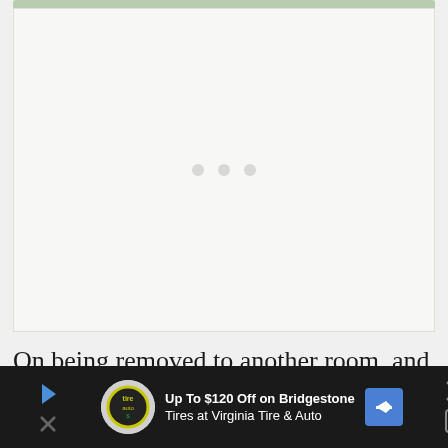[Figure (other): Large image placeholder with light greenish-white background and three grey dots in the center indicating loading state]
On being removed to another room, and finding
[Figure (other): Advertisement banner: Up To $120 Off on Bridgestone Tires at Virginia Tire & Auto, with tire logo and directional arrow sign. Dark background with close button on right.]